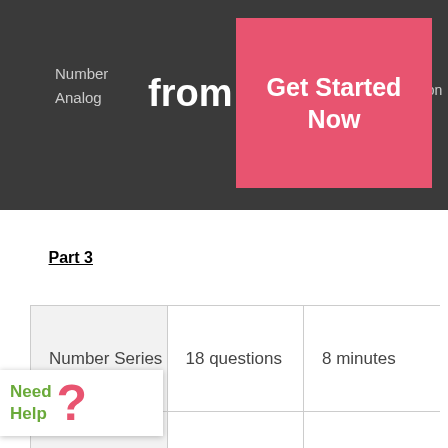Number
Analog
from $69
18 questions
Get Started Now
Part 3
|  |  |  |
| --- | --- | --- |
| Number Series | 18 questions | 8 minutes |
| Figure Analysis | 18 questions | 9 minutes |
| Figure |  |  |
Need Help ?